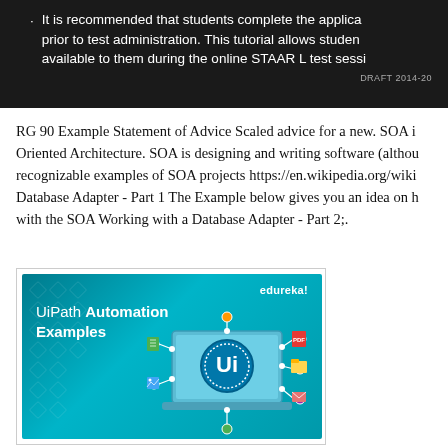[Figure (screenshot): Dark banner/slide image showing a bullet point about students completing application tutorial prior to test administration for STAAR L test session. Bottom right shows 'DRAFT 2014-20...']
RG 90 Example Statement of Advice Scaled advice for a new. SOA is Oriented Architecture. SOA is designing and writing software (althou recognizable examples of SOA projects https://en.wikipedia.org/wiki Database Adapter - Part 1 The Example below gives you an idea on h with the SOA Working with a Database Adapter - Part 2;.
[Figure (screenshot): UiPath Automation Examples banner image with teal/cyan background, showing 'UiPath Automation Examples' text on the left, 'edureka!' label top right, and a central graphic of a laptop with the UiPath 'Ui' logo connected to various file/app icons via nodes.]